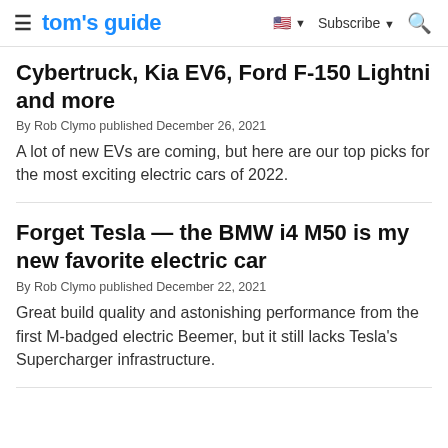tom's guide | Subscribe
Cybertruck, Kia EV6, Ford F-150 Lightning and more
By Rob Clymo published December 26, 2021
A lot of new EVs are coming, but here are our top picks for the most exciting electric cars of 2022.
Forget Tesla — the BMW i4 M50 is my new favorite electric car
By Rob Clymo published December 22, 2021
Great build quality and astonishing performance from the first M-badged electric Beemer, but it still lacks Tesla's Supercharger infrastructure.